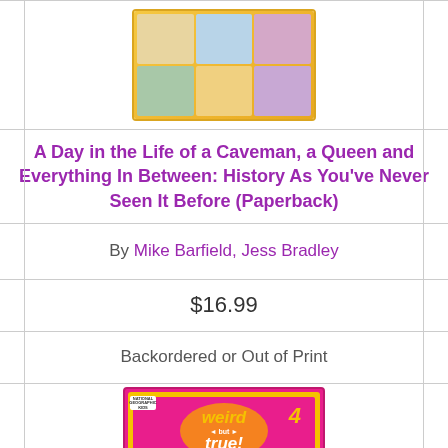[Figure (illustration): Book cover for 'A Day in the Life of a Caveman, a Queen and Everything In Between: History As You've Never Seen It Before' - colorful grid layout with cartoon illustrations]
A Day in the Life of a Caveman, a Queen and Everything In Between: History As You've Never Seen It Before (Paperback)
By Mike Barfield, Jess Bradley
$16.99
Backordered or Out of Print
[Figure (illustration): Book cover for 'Weird but True! 4: 350 Outrageous Facts' by National Geographic Kids - pink and yellow cover with toucan bird]